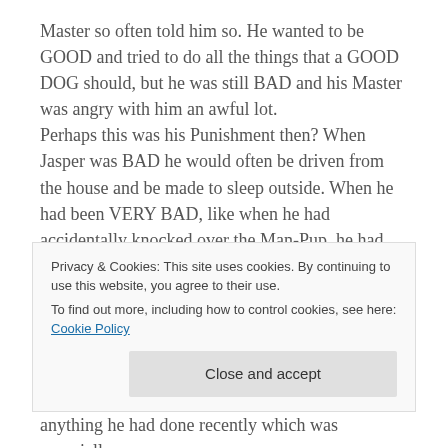Master so often told him so. He wanted to be GOOD and tried to do all the things that a GOOD DOG should, but he was still BAD and his Master was angry with him an awful lot. Perhaps this was his Punishment then? When Jasper was BAD he would often be driven from the house and be made to sleep outside. When he had been VERY BAD, like when he had accidentally knocked over the Man-Pup, he had been kicked several times and then locked outside for two days. It was his Punishment for being too big and too clumsy, and Jasper knew this well. He couldn't help
Privacy & Cookies: This site uses cookies. By continuing to use this website, you agree to their use.
To find out more, including how to control cookies, see here: Cookie Policy
Close and accept
anything he had done recently which was especially